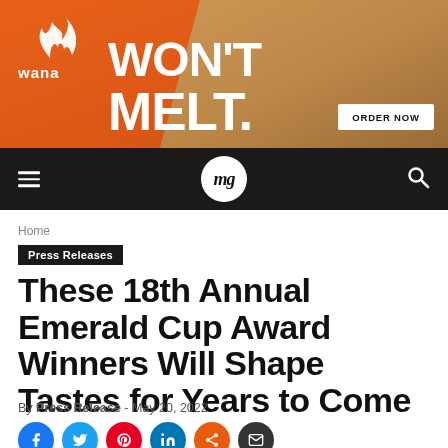[Figure (illustration): Wana brand advertisement banner with orange gradient background and product imagery. Large white text reads WON'T MELT. with Wana logo on left and ORDER NOW button.]
mg | navigation bar with hamburger menu, mg logo, and search icon
Home
Press Releases
These 18th Annual Emerald Cup Award Winners Will Shape Tastes for Years to Come
By Press Release - May 20, 2022